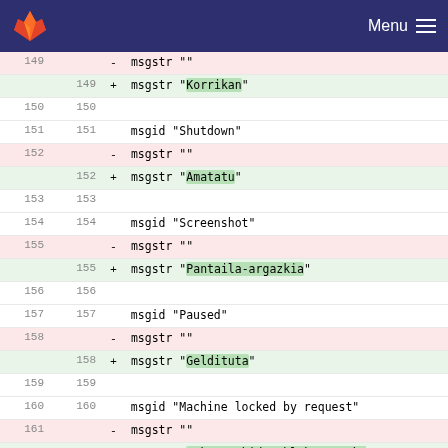[Figure (screenshot): GitLab navigation header with fox logo and Menu button on dark navy background]
149   - msgstr ""
  149 + msgstr "Korrikan"
150 150
151 151   msgid "Shutdown"
152   - msgstr ""
  152 + msgstr "Amatatu"
153 153
154 154   msgid "Screenshot"
155   - msgstr ""
  155 + msgstr "Pantaila-argazkia"
156 156
157 157   msgid "Paused"
158   - msgstr ""
  158 + msgstr "Geldituta"
159 159
160 160   msgid "Machine locked by request"
161   - msgstr ""
  161 + msgstr "Eskaera bidez blokeatutako makina"
162 162